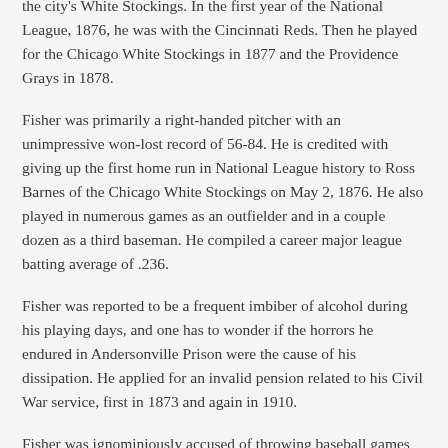the city's White Stockings. In the first year of the National League, 1876, he was with the Cincinnati Reds. Then he played for the Chicago White Stockings in 1877 and the Providence Grays in 1878.
Fisher was primarily a right-handed pitcher with an unimpressive won-lost record of 56-84. He is credited with giving up the first home run in National League history to Ross Barnes of the Chicago White Stockings on May 2, 1876. He also played in numerous games as an outfielder and in a couple dozen as a third baseman. He compiled a career major league batting average of .236.
Fisher was reported to be a frequent imbiber of alcohol during his playing days, and one has to wonder if the horrors he endured in Andersonville Prison were the cause of his dissipation. He applied for an invalid pension related to his Civil War service, first in 1873 and again in 1910.
Fisher was ignominiously accused of throwing baseball games for money. He admitted to doing so at least once. In early 1877 he confessed that he accepted a $100 bribe to throw a game on September 18, 1876, while playing for the semiprofessional Milwaukee club. He played in only two additional major league games over the span of the next two